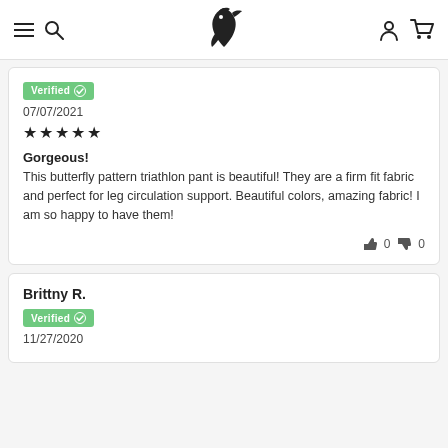[Figure (logo): E-commerce website navigation bar with hamburger menu, search icon, bird logo in center, user account icon and cart icon]
Verified ✓
07/07/2021
★★★★★
Gorgeous!
This butterfly pattern triathlon pant is beautiful! They are a firm fit fabric and perfect for leg circulation support. Beautiful colors, amazing fabric! I am so happy to have them!
👍 0 👎 0
Brittny R.
Verified ✓
11/27/2020